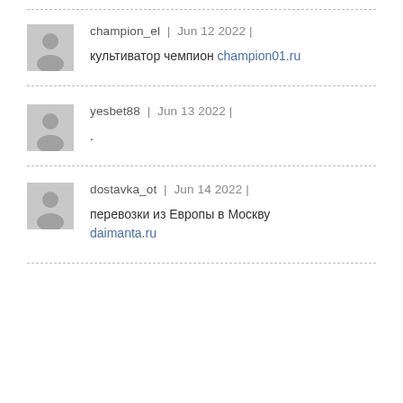champion_el | Jun 12 2022 |
культиватор чемпион champion01.ru
yesbet88 | Jun 13 2022 |
.
dostavka_ot | Jun 14 2022 |
перевозки из Европы в Москву daimanta.ru